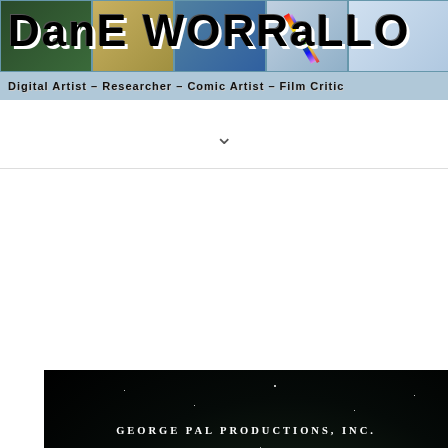[Figure (illustration): Dane Worrallo website header banner with cartoon panels in background showing animated characters, large bold title text 'Dane Worrallo' and subtitle 'Digital Artist – Researcher – Comic Artist – Film Critic']
[Figure (screenshot): Movie title card from 'Destination Moon' (1950 film), showing 'GEORGE PAL PRODUCTIONS, INC. presents DESTINATION MOON' in white text on a dark starfield background]